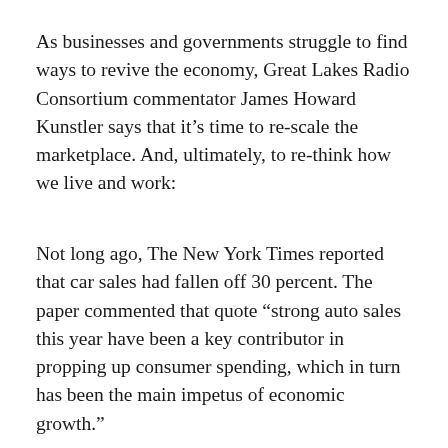As businesses and governments struggle to find ways to revive the economy, Great Lakes Radio Consortium commentator James Howard Kunstler says that it's time to re-scale the marketplace. And, ultimately, to re-think how we live and work:
Not long ago, The New York Times reported that car sales had fallen off 30 percent. The paper commented that quote “strong auto sales this year have been a key contributor in propping up consumer spending, which in turn has been the main impetus of economic growth.”